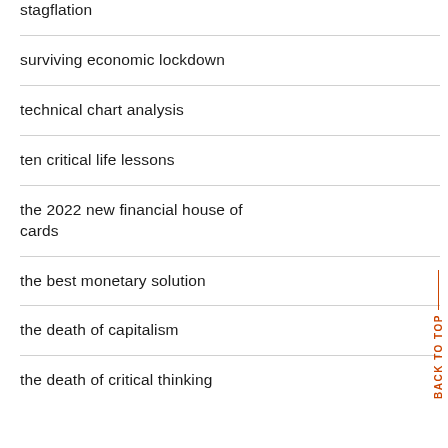stagflation
surviving economic lockdown
technical chart analysis
ten critical life lessons
the 2022 new financial house of cards
the best monetary solution
the death of capitalism
the death of critical thinking